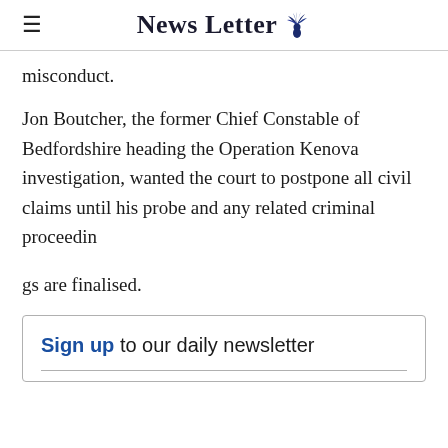News Letter
misconduct.
Jon Boutcher, the former Chief Constable of Bedfordshire heading the Operation Kenova investigation, wanted the court to postpone all civil claims until his probe and any related criminal proceedin
gs are finalised.
Sign up to our daily newsletter